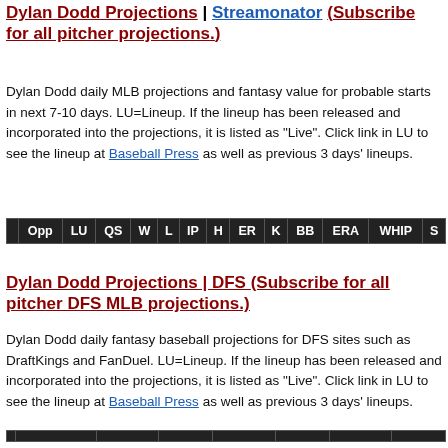Dylan Dodd Projections | Streamonator (Subscribe for all pitcher projections.)
Dylan Dodd daily MLB projections and fantasy value for probable starts in next 7-10 days. LU=Lineup. If the lineup has been released and incorporated into the projections, it is listed as "Live". Click link in LU to see the lineup at Baseball Press as well as previous 3 days' lineups.
| Opp | LU | QS | W | L | IP | H | ER | K | BB | ERA | WHIP | S |
| --- | --- | --- | --- | --- | --- | --- | --- | --- | --- | --- | --- | --- |
Dylan Dodd Projections | DFS (Subscribe for all pitcher DFS MLB projections.)
Dylan Dodd daily fantasy baseball projections for DFS sites such as DraftKings and FanDuel. LU=Lineup. If the lineup has been released and incorporated into the projections, it is listed as "Live". Click link in LU to see the lineup at Baseball Press as well as previous 3 days' lineups.